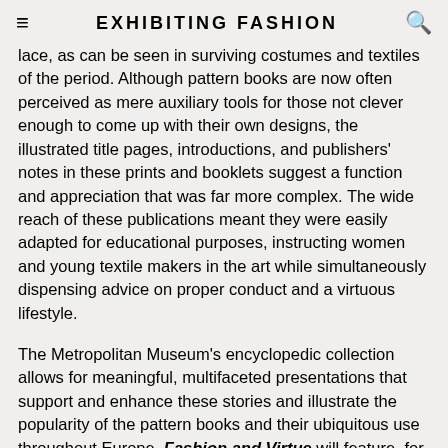EXHIBITING FASHION
lace, as can be seen in surviving costumes and textiles of the period. Although pattern books are now often perceived as mere auxiliary tools for those not clever enough to come up with their own designs, the illustrated title pages, introductions, and publishers' notes in these prints and booklets suggest a function and appreciation that was far more complex. The wide reach of these publications meant they were easily adapted for educational purposes, instructing women and young textile makers in the art while simultaneously dispensing advice on proper conduct and a virtuous lifestyle.
The Metropolitan Museum's encyclopedic collection allows for meaningful, multifaceted presentations that support and enhance these stories and illustrate the popularity of the pattern books and their ubiquitous use throughout Europe. Fashion and Virtue will feature, for example, contemporary embroidery samples from the collection of the Department of European Sculpture and Decorative Arts and portraits from the collection of European Paintings that will show the many ways in which embroidery and lace were used in contemporary costume. Objects from the Metropolitan's Costume Institute, the Robert Lehman Collection,